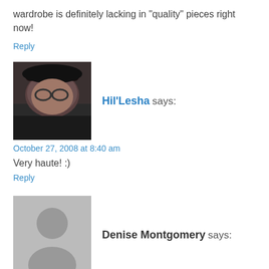wardrobe is definitely lacking in "quality" pieces right now!
Reply
[Figure (photo): Profile photo of Hil'Lesha, a close-up portrait photo of a person with glasses]
Hil'Lesha says:
October 27, 2008 at 8:40 am
Very haute! :)
Reply
[Figure (illustration): Generic gray avatar placeholder silhouette for Denise Montgomery]
Denise Montgomery says:
October 27, 2008 at 6:39 am